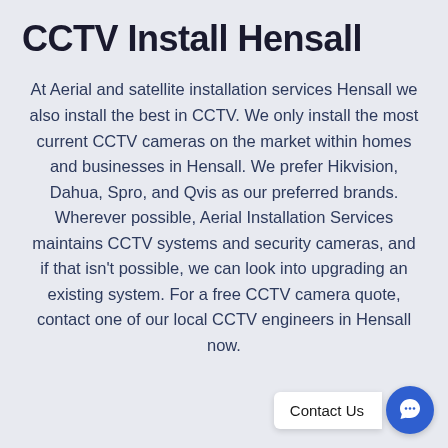CCTV Install Hensall
At Aerial and satellite installation services Hensall we also install the best in CCTV. We only install the most current CCTV cameras on the market within homes and businesses in Hensall. We prefer Hikvision, Dahua, Spro, and Qvis as our preferred brands. Wherever possible, Aerial Installation Services maintains CCTV systems and security cameras, and if that isn't possible, we can look into upgrading an existing system. For a free CCTV camera quote, contact one of our local CCTV engineers in Hensall now.